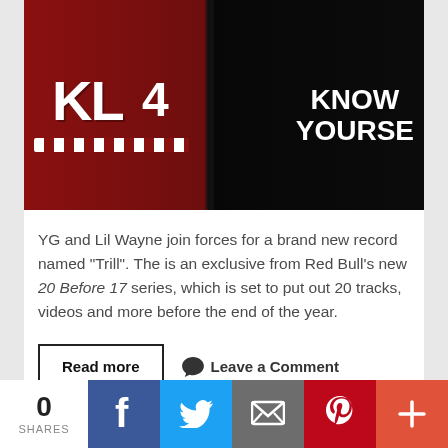[Figure (photo): Two men standing side by side: one on the left wearing a red football jersey with 'KL 4' visible, heavily tattooed; one on the right wearing a black sweatshirt reading 'KNOW YOURSELF' with long dreadlocks and sunglasses, against a dark background.]
YG and Lil Wayne join forces for a brand new record named "Trill". The is an exclusive from Red Bull's new 20 Before 17 series, which is set to put out 20 tracks, videos and more before the end of the year.
Read more   💬 Leave a Comment
0 SHARES | Facebook | Twitter | Email | Pinterest | More